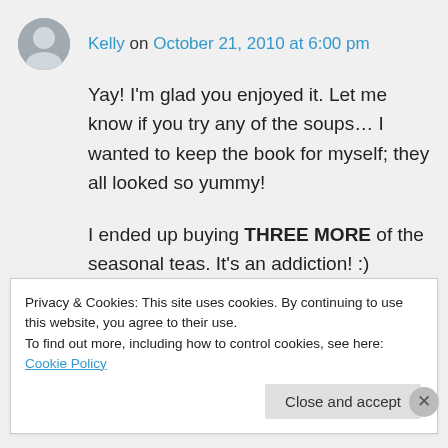Kelly on October 21, 2010 at 6:00 pm
Yay! I'm glad you enjoyed it. Let me know if you try any of the soups… I wanted to keep the book for myself; they all looked so yummy!
I ended up buying THREE MORE of the seasonal teas. It's an addiction! :)
★ Like
Privacy & Cookies: This site uses cookies. By continuing to use this website, you agree to their use. To find out more, including how to control cookies, see here: Cookie Policy
Close and accept